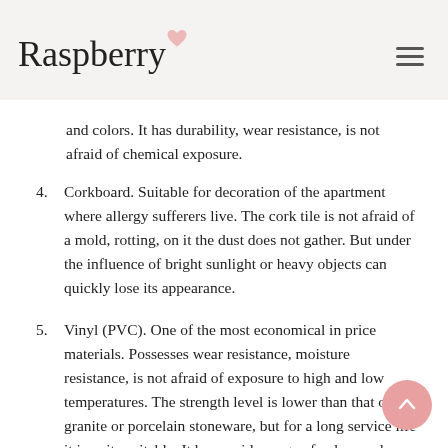Raspberry
and colors. It has durability, wear resistance, is not afraid of chemical exposure.
4. Corkboard. Suitable for decoration of the apartment where allergy sufferers live. The cork tile is not afraid of a mold, rotting, on it the dust does not gather. But under the influence of bright sunlight or heavy objects can quickly lose its appearance.
5. Vinyl (PVC). One of the most economical in price materials. Possesses wear resistance, moisture resistance, is not afraid of exposure to high and low temperatures. The strength level is lower than that of granite or porcelain stoneware, but for a long service life it is quite suitable. It has a wide range of colors and ornamental